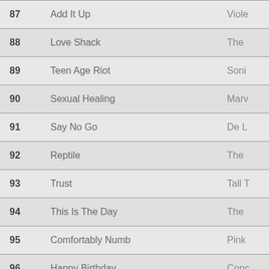| # | Title | Artist |
| --- | --- | --- |
| 87 | Add It Up | Viole… |
| 88 | Love Shack | The … |
| 89 | Teen Age Riot | Soni… |
| 90 | Sexual Healing | Marv… |
| 91 | Say No Go | De L… |
| 92 | Reptile | The … |
| 93 | Trust | Tall T… |
| 94 | This Is The Day | The … |
| 95 | Comfortably Numb | Pink… |
| 96 | Happy Birthday | Conc… |
| 97 | Roam | The … |